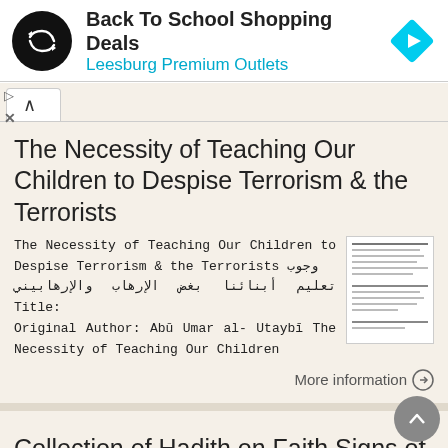[Figure (other): Advertisement banner: Back To School Shopping Deals at Leesburg Premium Outlets, with circular logo and blue navigation arrow icon]
The Necessity of Teaching Our Children to Despise Terrorism & the Terrorists
The Necessity of Teaching Our Children to Despise Terrorism & the Terrorists وجوب تعليم أبنائنا بغض الإرهاب والإرهابيني Title: Original Author: Abū Umar al- Utaybī The Necessity of Teaching Our Children
More information →
Collection of Hadith on Faith Signs of Faith- Hadith #1
Collection of Hadith on Faith Signs of Faith- Hadith #1 (30th April, 2015 16th Rabi Al...